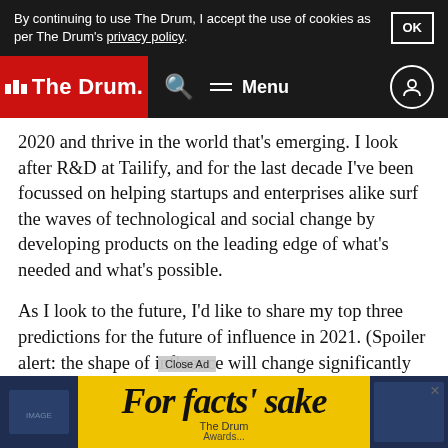By continuing to use The Drum, I accept the use of cookies as per The Drum's privacy policy.  OK
The Drum  Search  Menu
2020 and thrive in the world that’s emerging. I look after R&D at Tailify, and for the last decade I’ve been focussed on helping startups and enterprises alike surf the waves of technological and social change by developing products on the leading edge of what’s needed and what’s possible.
As I look to the future, I’d like to share my top three predictions for the future of influence in 2021. (Spoiler alert: the shape of influence will change significantly and will be more crucial than ever.)
[Figure (screenshot): Advertisement banner for The Drum 'For facts sake' awards with close ad button and X close button]